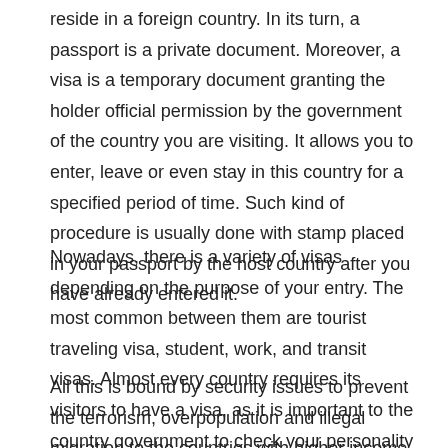reside in a foreign country. In its turn, a passport is a private document. Moreover, a visa is a temporary document granting the holder official permission by the government of the country you are visiting. It allows you to enter, leave or even stay in this country for a specified period of time. Such kind of procedure is usually done with stamp placed in your passport by the host country after you have already entered it.
Nowadays, there is a variety of visas depending on the purpose of your entry. The most common between them are tourist traveling visa, student, work, and transit visas. Almost every country requires its visitors to have a visa, as it is important to the country government to check your personality and purposes of visiting a particular country.
All this is bound by security issues to prevent the terrorism, overpopulation and illegal migration to the countries with higher income. And keep in mind that depending on where you are